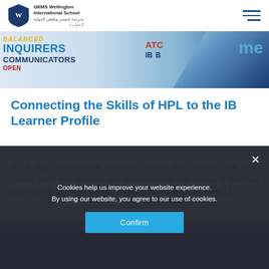GEMS Wellington International School
[Figure (photo): Colorful IB learner profile words banner including BALANCED, INQUIRERS, COMMUNICATORS with blue geometric shapes on the right]
Connecting the Skills of HPL to the IB Learner Profile
As a High Performance Learning School, WIS ensures that HPL values, skills and attitudes are embedded into the culture of teaching and learning from Foundation Stage up to and including Year 11.
[Figure (screenshot): Partial view of a dark blue/purple section below the text content]
Cookies help us improve your website experience. By using our website, you agree to our use of cookies.